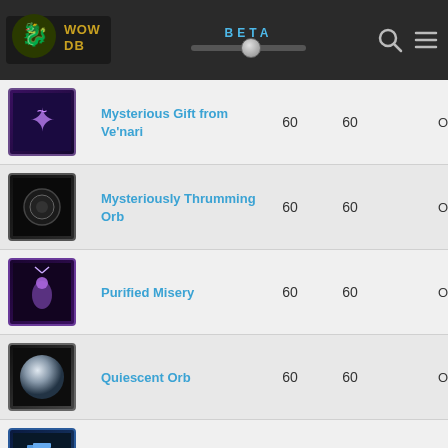WOWDB BETA
| Item | Name | Level | Req Level |  | Type |
| --- | --- | --- | --- | --- | --- |
| [icon] | Mysterious Gift from Ve'nari | 60 | 60 |  | Oth |
| [icon] | Mysteriously Thrumming Orb | 60 | 60 |  | Oth |
| [icon] | Purified Misery | 60 | 60 |  | Oth |
| [icon] | Quiescent Orb | 60 | 60 |  | Oth |
| [icon] | Ring of Duplicity | 60 | 60 |  | Oth |
| [icon] | Shadow Slicing Shortsword | 60 | 60 |  | Oth |
| [icon] | Supplies of the Archivists' Codex | 60 | 60 |  | Oth |